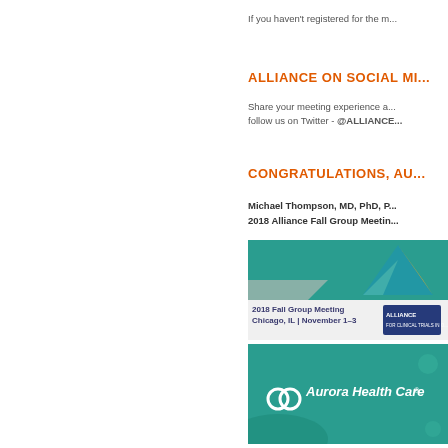If you haven't registered for the m...
ALLIANCE ON SOCIAL MI...
Share your meeting experience a... follow us on Twitter - @ALLIANCE...
CONGRATULATIONS, AU...
Michael Thompson, MD, PhD, P... 2018 Alliance Fall Group Meetin...
[Figure (photo): 2018 Fall Group Meeting Chicago, IL November 1-3 with Alliance logo and teal/blue design]
[Figure (logo): Aurora Health Care logo on teal background]